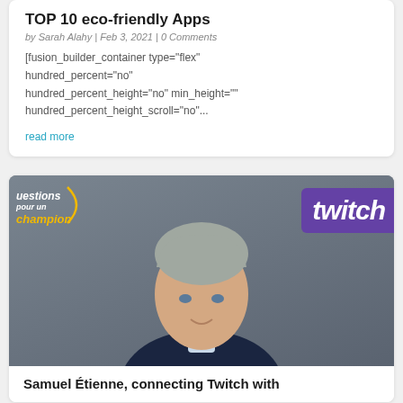TOP 10 eco-friendly Apps
by Sarah Alahy | Feb 3, 2021 | 0 Comments
[fusion_builder_container type="flex" hundred_percent="no" hundred_percent_height="no" min_height="" hundred_percent_height_scroll="no"...
read more
[Figure (photo): Photo of Samuel Étienne with Questions pour un champion logo on the left and Twitch logo on the right]
Samuel Étienne, connecting Twitch with